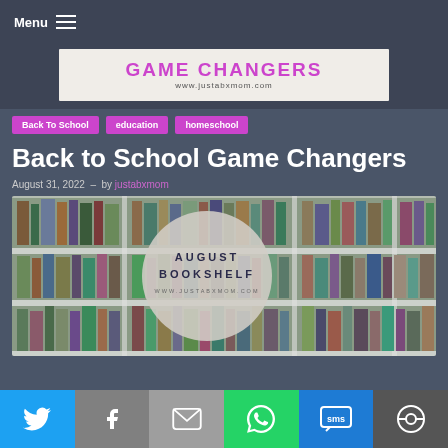Menu
[Figure (illustration): Banner image with text GAME CHANGERS and www.justabxmom.com on a light background]
Back To School
education
homeschool
Back to School Game Changers
August 31, 2022  –  by justabxmom
[Figure (photo): Photo of library bookshelves with a circular overlay reading AUGUST BOOKSHELF www.justabxmom.com]